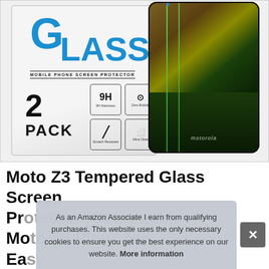[Figure (photo): Product photo showing a 2-pack tempered glass screen protector package. Left side shows the box labeled 'GLASS Mobile Phone Screen Protector' with '2 PACK' and feature icons (9H Hardness, Zero Bubble, Scratch Resistant, Ultra Clear). Right side shows a Motorola smartphone with two screen protectors applied.]
Moto Z3 Tempered Glass Screen Protector, Mo... Ea...
As an Amazon Associate I earn from qualifying purchases. This website uses the only necessary cookies to ensure you get the best experience on our website. More information